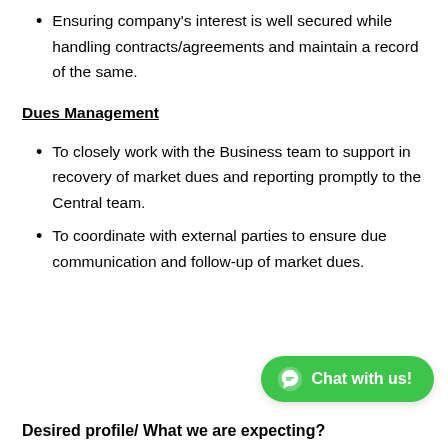Ensuring company’s interest is well secured while handling contracts/agreements and maintain a record of the same.
Dues Management
To closely work with the Business team to support in recovery of market dues and reporting promptly to the Central team.
To coordinate with external parties to ensure due communication and follow-up of market dues.
Desired profile/ What we are expecting?